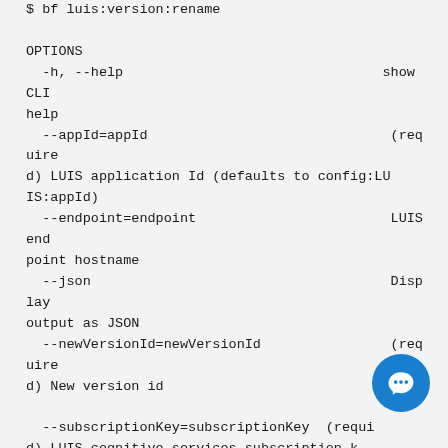$ bf luis:version:rename

OPTIONS
  -h, --help                                show CLI help
  --appId=appId                              (required) LUIS application Id (defaults to config:LUIS:appId)
  --endpoint=endpoint                        LUIS endpoint hostname
  --json                                     Display output as JSON
  --newVersionId=newVersionId                (required) New version id

  --subscriptionKey=subscriptionKey          (required) LUIS cognitive services subscription k (default:
                                             configu